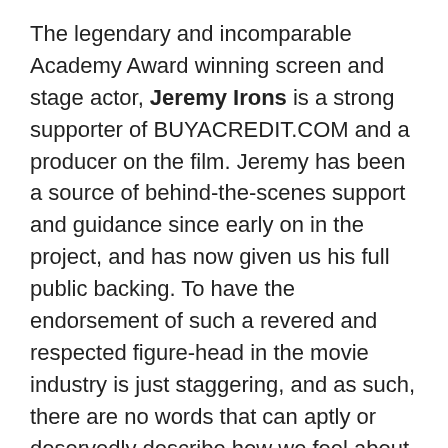The legendary and incomparable Academy Award winning screen and stage actor, Jeremy Irons is a strong supporter of BUYACREDIT.COM and a producer on the film. Jeremy has been a source of behind-the-scenes support and guidance since early on in the project, and has now given us his full public backing. To have the endorsement of such a revered and respected figure-head in the movie industry is just staggering, and as such, there are no words that can aptly or deservedly describe how we feel about having him involved.
BUYACREDIT.COM is a project aiming to raise a movie's budget by selling its end credits online. For just $10 you can help fund a film, become a Movie Producer alongside some of Hollywood's biggest names and see your OWN name roll down on the end credits of the movie. Give enough and you could find yourself amongst the Top 100